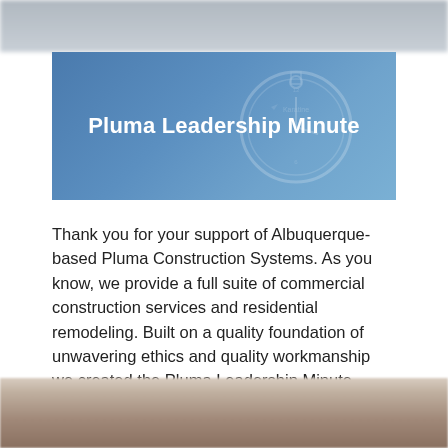[Figure (photo): Blurred header image strip at top of page]
[Figure (photo): Banner with heading 'Pluma Leadership Minute' overlaid on a blurred clock/compass image with blue tinted background]
Pluma Leadership Minute
Thank you for your support of Albuquerque-based Pluma Construction Systems. As you know, we provide a full suite of commercial construction services and residential remodeling. Built on a quality foundation of unwavering ethics and quality workmanship we created the Pluma Leadership Minute (heard on 770 KKOB-AM) as a way to share insights with influential people, like you!
[Figure (photo): Blurred bottom image strip showing animal fur or similar texture]